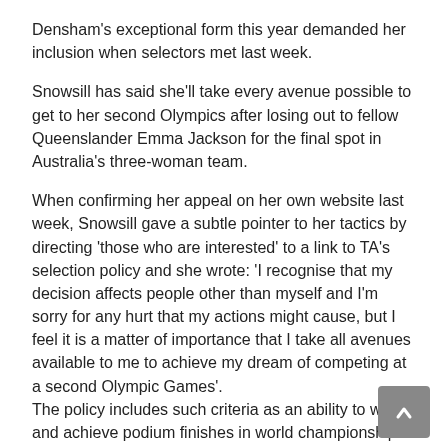Densham's exceptional form this year demanded her inclusion when selectors met last week.
Snowsill has said she'll take every avenue possible to get to her second Olympics after losing out to fellow Queenslander Emma Jackson for the final spot in Australia's three-woman team.
When confirming her appeal on her own website last week, Snowsill gave a subtle pointer to her tactics by directing 'those who are interested' to a link to TA's selection policy and she wrote: 'I recognise that my decision affects people other than myself and I'm sorry for any hurt that my actions might cause, but I feel it is a matter of importance that I take all avenues available to me to achieve my dream of competing at a second Olympic Games'.
The policy includes such criteria as an ability to win and achieve podium finishes in world championship series races in the past three years, history of major championships results and current form.
Since winning the gold medal in Beijing in 2008, Snowsill has